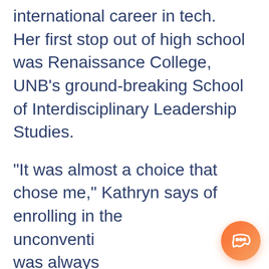international career in tech. Her first stop out of high school was Renaissance College, UNB's ground-breaking School of Interdisciplinary Leadership Studies.
“It was almost a choice that chose me,” Kathryn says of enrolling in the unconventi[onal program. She] was always [drawn] to challenges, to different things. I've never seen myself in a mould."
[Figure (screenshot): A chat widget popup overlay with a small chat icon (blue circular icon with a card/phone graphic), a white dialog box showing 'Hello!', an X close button, and an orange circular chat button in the bottom-right corner.]